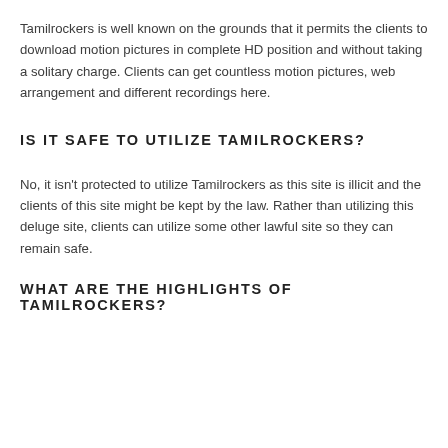Tamilrockers is well known on the grounds that it permits the clients to download motion pictures in complete HD position and without taking a solitary charge. Clients can get countless motion pictures, web arrangement and different recordings here.
IS IT SAFE TO UTILIZE TAMILROCKERS?
No, it isn't protected to utilize Tamilrockers as this site is illicit and the clients of this site might be kept by the law. Rather than utilizing this deluge site, clients can utilize some other lawful site so they can remain safe.
WHAT ARE THE HIGHLIGHTS OF TAMILROCKERS?